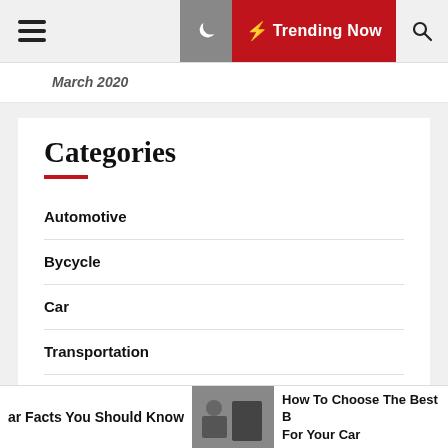Trending Now
March 2020
Categories
Automotive
Bycycle
Car
Transportation
Vehicle
ar Facts You Should Know | How To Choose The Best B For Your Car